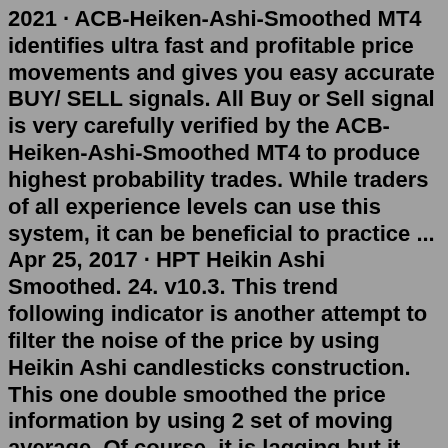2021 · ACB-Heiken-Ashi-Smoothed MT4 identifies ultra fast and profitable price movements and gives you easy accurate BUY/ SELL signals. All Buy or Sell signal is very carefully verified by the ACB-Heiken-Ashi-Smoothed MT4 to produce highest probability trades. While traders of all experience levels can use this system, it can be beneficial to practice ... Apr 25, 2017 · HPT Heikin Ashi Smoothed. 24. v10.3. This trend following indicator is another attempt to filter the noise of the price by using Heikin Ashi candlesticks construction. This one double smoothed the price information by using 2 set of moving average. Of course, it is lagging but it has the capabilities to reduce considerably the market noises. Jul 02, 2022 · heiken ashi smoothed alert indicator For MT4/MT5. ... Simple Buy Sell Signal Indicator For MT5 Download Free. July 3, 2022. Download Zup Harmonic V160 indicator For ... Ideal trading signals for all markets and time slots. Lightning-fast analysis of foreign exchange strength. Built-in position size calculator. Backtesting possibility by an